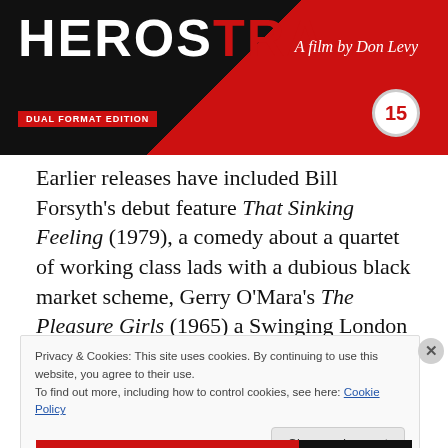[Figure (photo): DVD cover for 'Herostratus' — a film by Don Levy. Black and red cover with white bold title text, 'DUAL FORMAT EDITION' label in red, and a '15' rating badge. Dual format edition.]
Earlier releases have included Bill Forsyth's debut feature That Sinking Feeling (1979), a comedy about a quartet of working class lads with a dubious black market scheme, Gerry O'Mara's The Pleasure Girls (1965) a Swinging London soap opera starring Francesca Annis, Suzanna
Privacy & Cookies: This site uses cookies. By continuing to use this website, you agree to their use.
To find out more, including how to control cookies, see here: Cookie Policy
Close and accept